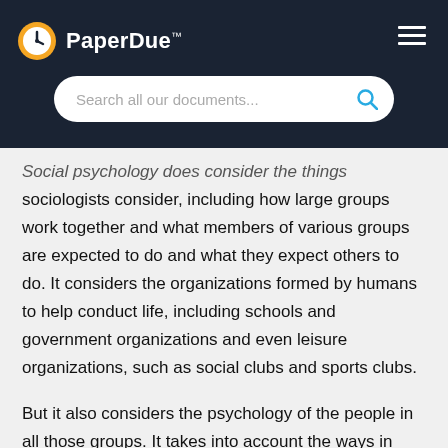PaperDue™
Social psychology does consider the things sociologists consider, including how large groups work together and what members of various groups are expected to do and what they expect others to do. It considers the organizations formed by humans to help conduct life, including schools and government organizations and even leisure organizations, such as social clubs and sports clubs.
But it also considers the psychology of the people in all those groups. It takes into account the ways in which the groups work with the psychology of the